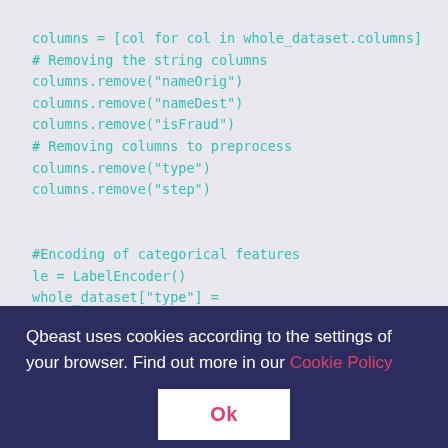[Figure (screenshot): Code block on light gray background showing Python code for removing columns and encoding categorical features]
Qbeast uses cookies according to the settings of your browser. Find out more in our Cookie Policy
Ok